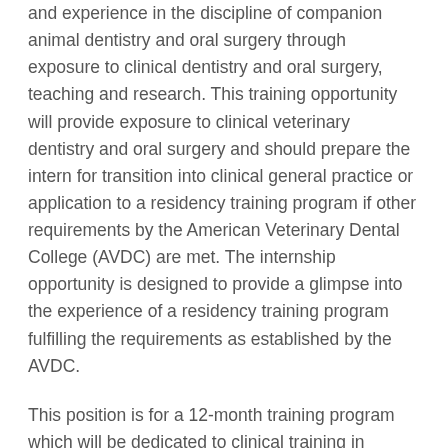and experience in the discipline of companion animal dentistry and oral surgery through exposure to clinical dentistry and oral surgery, teaching and research. This training opportunity will provide exposure to clinical veterinary dentistry and oral surgery and should prepare the intern for transition into clinical general practice or application to a residency training program if other requirements by the American Veterinary Dental College (AVDC) are met. The internship opportunity is designed to provide a glimpse into the experience of a residency training program fulfilling the requirements as established by the AVDC.
This position is for a 12-month training program which will be dedicated to clinical training in dentistry and oral surgery and related disciplines. The intern will share “on call” duty for oral and maxillofacial emergencies and be backed up by the two dentistry and oral surgery residents.
Participation in resident case rounds, didactic rounds and participation in clinical teaching of veterinary students is